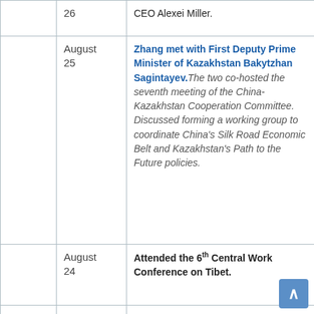|  | Date | Event |
| --- | --- | --- |
|  | 26 | CEO Alexei Miller. |
|  | August 25 | Zhang met with First Deputy Prime Minister of Kazakhstan Bakytzhan Sagintayev. The two co-hosted the seventh meeting of the China-Kazakhstan Cooperation Committee. Discussed forming a working group to coordinate China's Silk Road Economic Belt and Kazakhstan's Path to the Future policies. |
|  | August 24 | Attended the 6th Central Work Conference on Tibet. |
|  | August 20 | Zhang met with Igor Sechin, chief of Russian oil company Rosneft. |